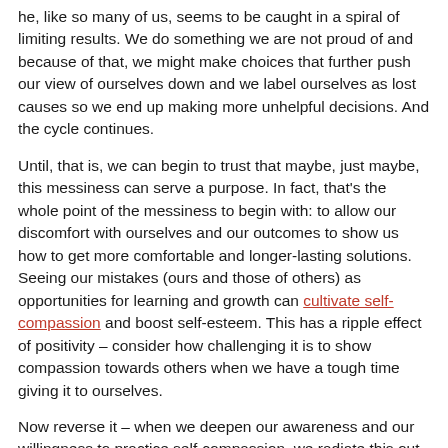he, like so many of us, seems to be caught in a spiral of limiting results. We do something we are not proud of and because of that, we might make choices that further push our view of ourselves down and we label ourselves as lost causes so we end up making more unhelpful decisions. And the cycle continues.
Until, that is, we can begin to trust that maybe, just maybe, this messiness can serve a purpose. In fact, that's the whole point of the messiness to begin with: to allow our discomfort with ourselves and our outcomes to show us how to get more comfortable and longer-lasting solutions. Seeing our mistakes (ours and those of others) as opportunities for learning and growth can cultivate self-compassion and boost self-esteem. This has a ripple effect of positivity – consider how challenging it is to show compassion towards others when we have a tough time giving it to ourselves.
Now reverse it – when we deepen our awareness and our willingness to practice self-compassion, we radiate this out to others as well.
The fact of the matter is that we all make mistakes. That's part of being human.